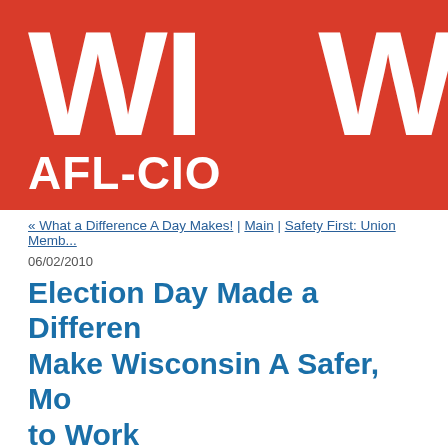[Figure (logo): Wisconsin AFL-CIO logo: large white 'WI' text with 'W' partially visible on right, and 'AFL-CIO' text below, all on a red background]
« What a Difference A Day Makes! | Main | Safety First: Union Memb...
06/02/2010
Election Day Made a Differen... Make Wisconsin A Safer, Mo... to Work
"When workers make the informed decisio...